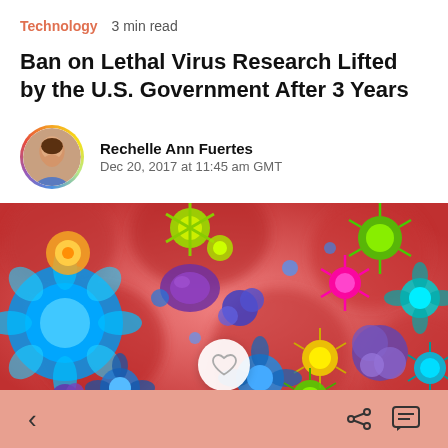Technology   3 min read
Ban on Lethal Virus Research Lifted by the U.S. Government After 3 Years
Rechelle Ann Fuertes
Dec 20, 2017 at 11:45 am GMT
[Figure (photo): Colorful virus particles illustration on red background showing various fluorescent-colored microscopic virus and bacteria entities]
Navigation bar with back arrow, share icon, and comment icon